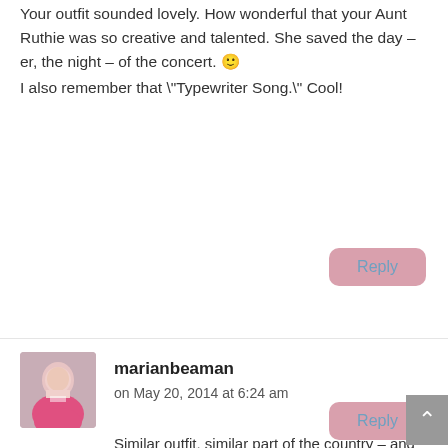Your outfit sounded lovely. How wonderful that your Aunt Ruthie was so creative and talented. She saved the day – er, the night – of the concert. 🙂

I also remember that "Typewriter Song." Cool!
Reply
marianbeaman on May 20, 2014 at 6:24 am
Similar outfit, similar part of the country – and probably similar era. I'll bet you remember Anderson's "Syncopated Clock" too. Thanks for stopping by and commenting, Judy.
Reply